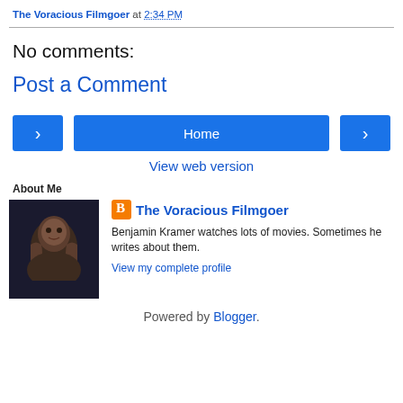The Voracious Filmgoer at 2:34 PM
No comments:
Post a Comment
[Figure (screenshot): Navigation buttons: left arrow, Home, right arrow]
View web version
About Me
[Figure (photo): Profile photo of a person looking upward in a dark setting]
The Voracious Filmgoer
Benjamin Kramer watches lots of movies. Sometimes he writes about them.
View my complete profile
Powered by Blogger.